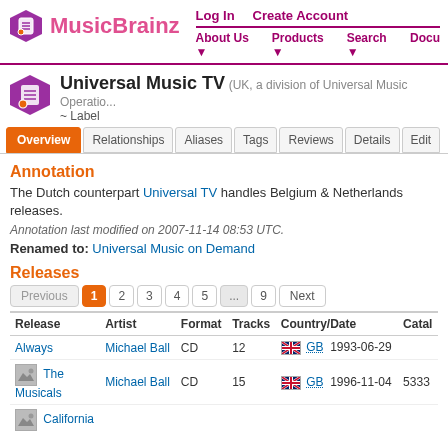MusicBrainz — Log In | Create Account | About Us | Products | Search | Docu
Universal Music TV (UK, a division of Universal Music Operatio... ~ Label
Overview | Relationships | Aliases | Tags | Reviews | Details | Edit
Annotation
The Dutch counterpart Universal TV handles Belgium & Netherlands releases.
Annotation last modified on 2007-11-14 08:53 UTC.
Renamed to: Universal Music on Demand
Releases
Previous 1 2 3 4 5 ... 9 Next
| Release | Artist | Format | Tracks | Country/Date | Catal |
| --- | --- | --- | --- | --- | --- |
| Always | Michael Ball | CD | 12 | GB 1993-06-29 |  |
| The Musicals | Michael Ball | CD | 15 | GB 1996-11-04 | 5333 |
| California |  |  |  |  |  |